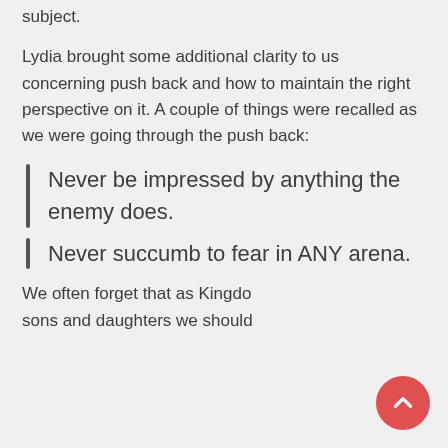subject.
Lydia brought some additional clarity to us concerning push back and how to maintain the right perspective on it. A couple of things were recalled as we were going through the push back:
Never be impressed by anything the enemy does.
Never succumb to fear in ANY arena.
We often forget that as Kingdom sons and daughters we should